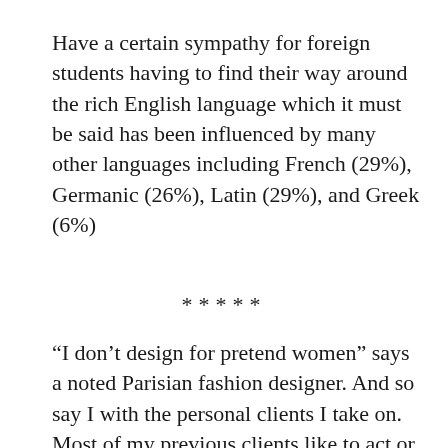Have a certain sympathy for foreign students having to find their way around the rich English language which it must be said has been influenced by many other languages including French (29%), Germanic (26%), Latin (29%), and Greek (6%)
****
“I don’t design for pretend women” says a noted Parisian fashion designer. And so say I with the personal clients I take on. Most of my previous clients like to act or pretend at some level and to these people their image is more important than the truth that wants to reign supreme from within. Sometimes you have to